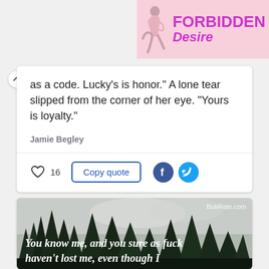[Figure (illustration): Forbidden Desire banner advertisement with silhouette of a woman and pink/purple branding text]
as a code. Lucky’s is honor.” A lone tear slipped from the corner of her eye. “Yours is loyalty.”
Jamie Begley
16  Copy quote
[Figure (photo): Forest scene with tall pine trees and overcast sky, with italic white text reading: 'You know me, and you sure as fuck haven’t lost me, even though I' and BukRate.com watermark]